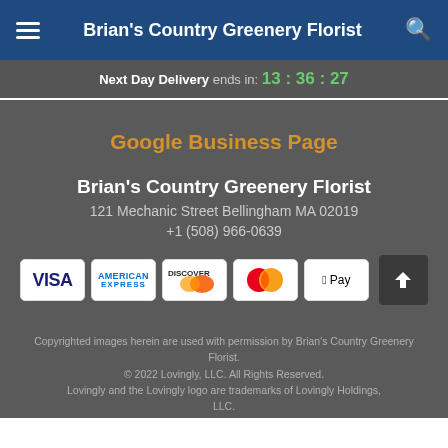Brian's Country Greenery Florist
Next Day Delivery ends in: 13 : 36 : 27
Google Business Page
Brian's Country Greenery Florist
121 Mechanic Street Bellingham MA 02019
+1 (508) 966-0639
[Figure (other): Payment method icons: VISA, American Express, Discover, MasterCard, Apple Pay]
Copyrighted images herein are used with permission by Brian's Country Greenery Florist. © 2022 Lovingly, LLC. All Rights Reserved. Lovingly and the Lovingly logo are trademarks of Lovingly Holdings, LLC.